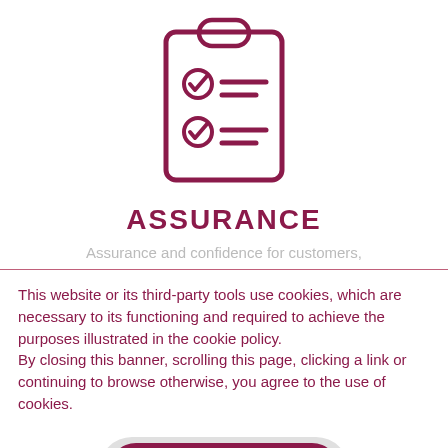[Figure (illustration): Clipboard icon with two checked checklist items, drawn in dark red/maroon outline style]
ASSURANCE
Assurance and confidence for customers,
This website or its third-party tools use cookies, which are necessary to its functioning and required to achieve the purposes illustrated in the cookie policy.
By closing this banner, scrolling this page, clicking a link or continuing to browse otherwise, you agree to the use of cookies.
ACCEPT